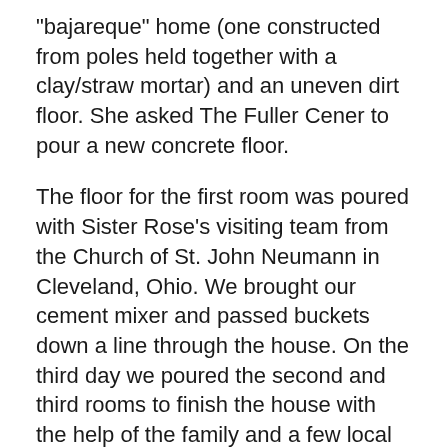"bajareque" home (one constructed from poles held together with a clay/straw mortar) and an uneven dirt floor. She asked The Fuller Cener to pour a new concrete floor.
The floor for the first room was poured with Sister Rose's visiting team from the Church of St. John Neumann in Cleveland, Ohio. We brought our cement mixer and passed buckets down a line through the house. On the third day we poured the second and third rooms to finish the house with the help of the family and a few local volunteers.
The family included a grandfather and mother, their daughter and husband, and three young